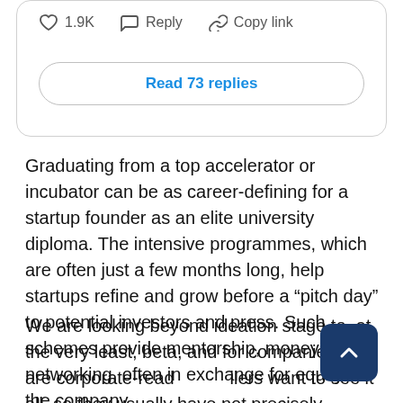[Figure (screenshot): Social media action bar with heart/like icon showing 1.9K, Reply button, and Copy link button inside a rounded rectangle card. Below the action bar is a 'Read 73 replies' button.]
Graduating from a top accelerator or incubator can be as career-defining for a startup founder as an elite university diploma. The intensive programmes, which are often just a few months long, help startups refine and grow before a “pitch day” to potential investors and press. Such schemes provide mentorship, money and networking, often in exchange for equity in the company.
We are looking beyond ideation stage to, at the very least, beta, and for companies that are corporate-ready. Retailers want to see it all, so they usually have not precisely identified one tech they want to focus on. Visual search and fit-tech are definitely hot areas.